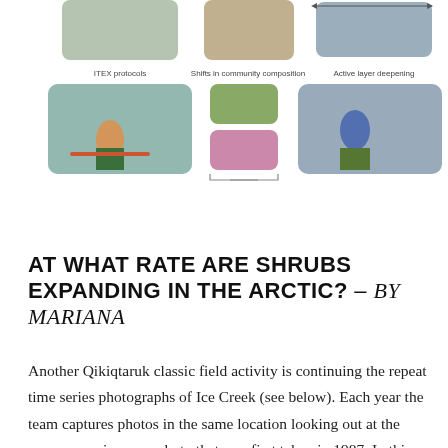[Figure (photo): Three rows of field photos showing ITEX protocols (researcher in field with measurement frame), shifts in community composition (two photos of Arctic vegetation/flowers), and active layer deepening (researcher measuring soil). Top row shows partial cropped versions, bottom row shows full images. Captions label each column.]
AT WHAT RATE ARE SHRUBS EXPANDING IN THE ARCTIC? – BY MARIANA
Another Qikiqtaruk classic field activity is continuing the repeat time series photographs of Ice Creek (see below). Each year the team captures photos in the same location looking out at the very same view as a photo that was first taken in 1987. In this series of photographs you can clearly see the vegetation change that has been occurring on the island over time. This year's first aim is,